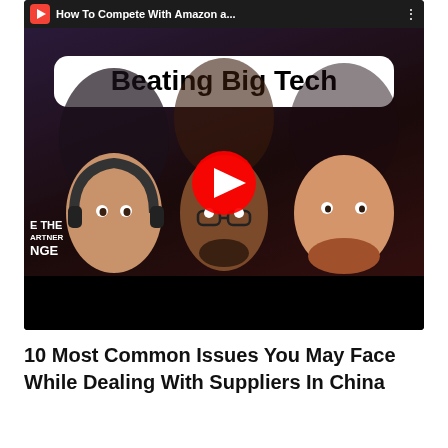[Figure (screenshot): YouTube video thumbnail showing three men with text overlay 'Beating Big Tech' in a white rounded rectangle, a red YouTube play button in the center, and partial text 'E THE PARTNER NGE' on the left side. Title bar shows 'How To Compete With Amazon a...' The bottom has a black bar.]
10 Most Common Issues You May Face While Dealing With Suppliers In China